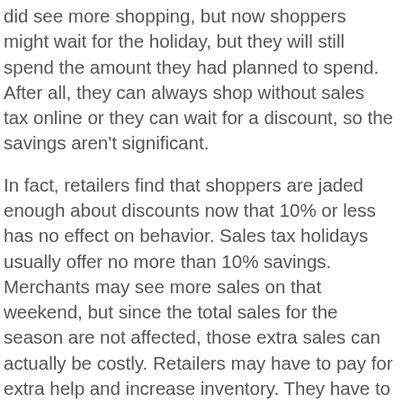did see more shopping, but now shoppers might wait for the holiday, but they will still spend the amount they had planned to spend. After all, they can always shop without sales tax online or they can wait for a discount, so the savings aren't significant.
In fact, retailers find that shoppers are jaded enough about discounts now that 10% or less has no effect on behavior. Sales tax holidays usually offer no more than 10% savings. Merchants may see more sales on that weekend, but since the total sales for the season are not affected, those extra sales can actually be costly. Retailers may have to pay for extra help and increase inventory. They have to reprogram computers to stop collecting sales taxes for the